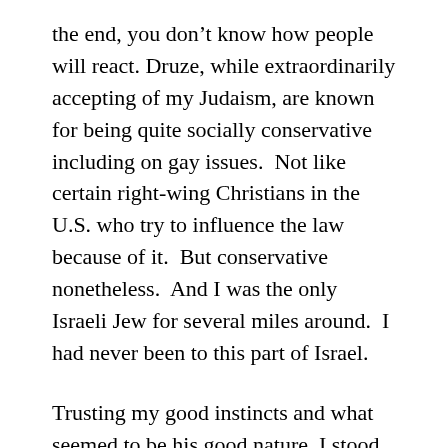the end, you don't know how people will react. Druze, while extraordinarily accepting of my Judaism, are known for being quite socially conservative including on gay issues.  Not like certain right-wing Christians in the U.S. who try to influence the law because of it.  But conservative nonetheless.  And I was the only Israeli Jew for several miles around.  I had never been to this part of Israel.
Trusting my good instincts and what seemed to be his good nature, I stood there with him, next to his moped.  And it turns out, I not only made a good choice, I may have done a mitzvah.  A good deed.  He continued to ask me all sorts of questions about gay people and my